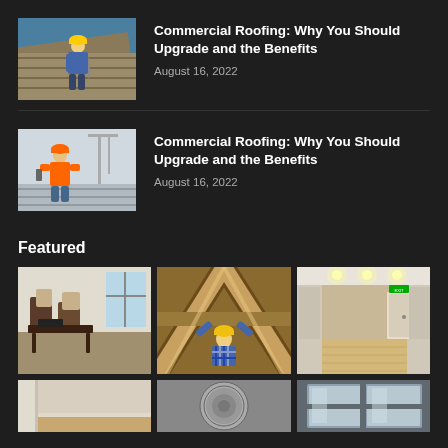[Figure (photo): Worker in safety gear installing/repairing a metal roof]
Commercial Roofing: Why You Should Upgrade and the Benefits
August 16, 2022
[Figure (photo): Worker in orange safety vest and harness on a rooftop with cranes in background]
Commercial Roofing: Why You Should Upgrade and the Benefits
August 16, 2022
Featured
[Figure (photo): Interior room with dark wooden chairs and furniture]
[Figure (photo): Worker in yellow hard hat working on wooden roof beams]
[Figure (photo): Modern hallway with wood flooring and recessed lighting]
[Figure (photo): Room corner with baseboard and flooring]
[Figure (photo): Circular object or roofing material closeup]
[Figure (photo): Window or architectural detail]